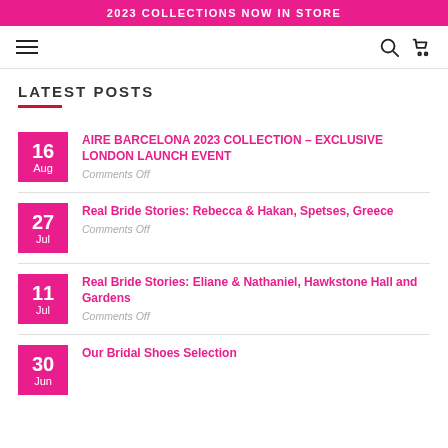2023 COLLECTIONS NOW IN STORE
LATEST POSTS
16 Aug — AIRE BARCELONA 2023 COLLECTION – EXCLUSIVE LONDON LAUNCH EVENT — Comments Off
27 Jul — Real Bride Stories: Rebecca & Hakan, Spetses, Greece — Comments Off
11 Jul — Real Bride Stories: Eliane & Nathaniel, Hawkstone Hall and Gardens — Comments Off
30 Jun — Our Bridal Shoes Selection